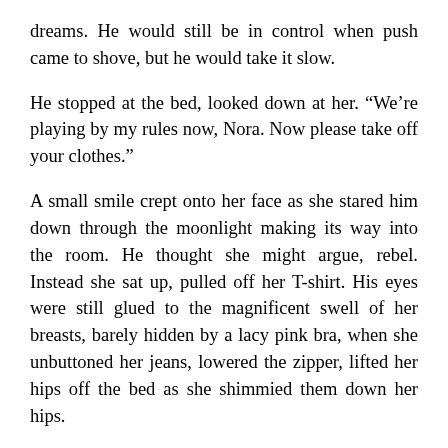dreams. He would still be in control when push came to shove, but he would take it slow.
He stopped at the bed, looked down at her. “We’re playing by my rules now, Nora. Now please take off your clothes.”
A small smile crept onto her face as she stared him down through the moonlight making its way into the room. He thought she might argue, rebel. Instead she sat up, pulled off her T-shirt. His eyes were still glued to the magnificent swell of her breasts, barely hidden by a lacy pink bra, when she unbuttoned her jeans, lowered the zipper, lifted her hips off the bed as she shimmied them down her hips.
He almost couldn’t breathe as she tossed them aside, her porcelain skin glowing in the darkness. She was naked except for the bra and a matching scrap of fabric that covered the mound between her legs, just enough hidden to push his imagination into overdrive.